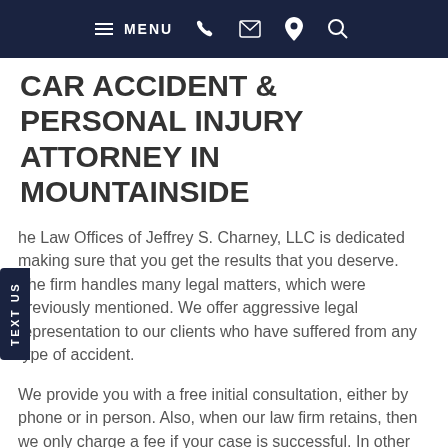MENU [phone] [email] [location] [search]
CAR ACCIDENT & PERSONAL INJURY ATTORNEY IN MOUNTAINSIDE
The Law Offices of Jeffrey S. Charney, LLC is dedicated making sure that you get the results that you deserve. The firm handles many legal matters, which were previously mentioned. We offer aggressive legal representation to our clients who have suffered from any type of accident.
We provide you with a free initial consultation, either by phone or in person. Also, when our law firm retains, then we only charge a fee if your case is successful. In other words, we only collect fees if you win. If you want to discuss your case, or other type of